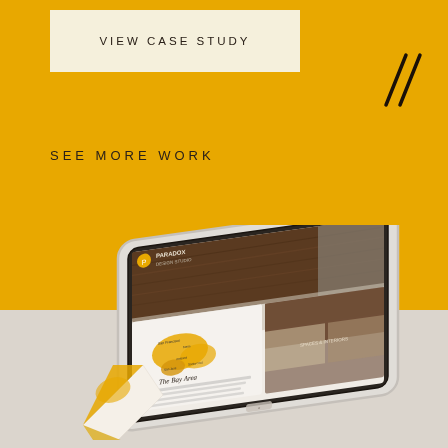[Figure (screenshot): Yellow background design portfolio page with a cream-colored 'VIEW CASE STUDY' button at top-left, two diagonal slash marks at top-right, 'SEE MORE WORK' text in the middle, and an iPad mockup showing a website with a map of The Bay Area at the bottom portion.]
VIEW CASE STUDY
SEE MORE WORK